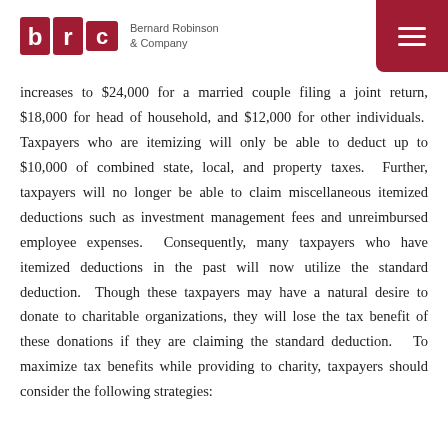Bernard Robinson & Company
increases to $24,000 for a married couple filing a joint return, $18,000 for head of household, and $12,000 for other individuals. Taxpayers who are itemizing will only be able to deduct up to $10,000 of combined state, local, and property taxes. Further, taxpayers will no longer be able to claim miscellaneous itemized deductions such as investment management fees and unreimbursed employee expenses. Consequently, many taxpayers who have itemized deductions in the past will now utilize the standard deduction. Though these taxpayers may have a natural desire to donate to charitable organizations, they will lose the tax benefit of these donations if they are claiming the standard deduction. To maximize tax benefits while providing to charity, taxpayers should consider the following strategies: